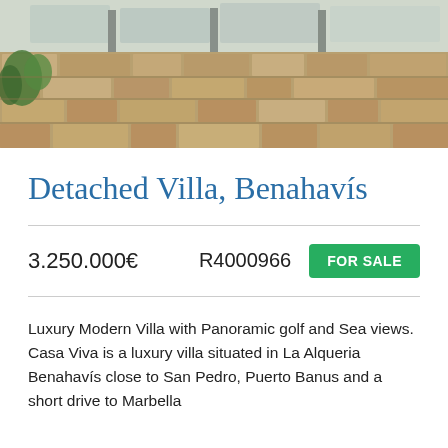[Figure (photo): Aerial/terrace view of a modern luxury villa with stone wall surroundings, glass railings, and Mediterranean landscaping.]
Detached Villa, Benahavís
3.250.000€    R4000966    FOR SALE
Luxury Modern Villa with Panoramic golf and Sea views. Casa Viva is a luxury villa situated in La Alqueria Benahavís close to San Pedro, Puerto Banus and a short drive to Marbella